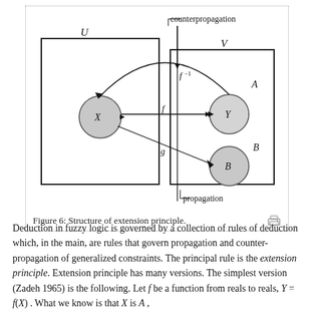[Figure (schematic): Diagram showing the structure of the extension principle. Two rectangles labeled U (left) and V (right) with a dotted border around both. Inside U is a circle labeled X. Inside V are two circles: one labeled Y (top, connected to X via arrow labeled f) and one labeled B (bottom, connected to X via arrow labeled g). An arc labeled f^{-1} goes from Y back to X. Labels 'counterpropagation' at top right and 'propagation' at bottom center. Labels A (top right, inside V) and B (bottom right, inside V).]
Figure 6: Structure of extension principle.
Deduction in fuzzy logic is governed by a collection of rules of deduction which, in the main, are rules that govern propagation and counter-propagation of generalized constraints. The principal rule is the extension principle. Extension principle has many versions. The simplest version (Zadeh 1965) is the following. Let f be a function from reals to reals, Y = f(X) . What we know is that X is A , where A is a fuzzy subset of the real line. Equivalently, what we